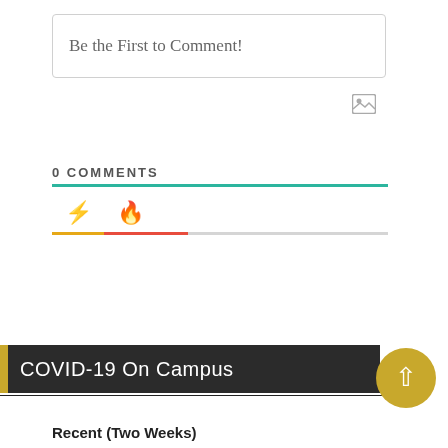Be the First to Comment!
0 COMMENTS
[Figure (other): Comment section tab icons: lightning bolt (yellow) and fire (orange-red) icons with colored underlines indicating sort tabs]
COVID-19 On Campus
Recent (Two Weeks)